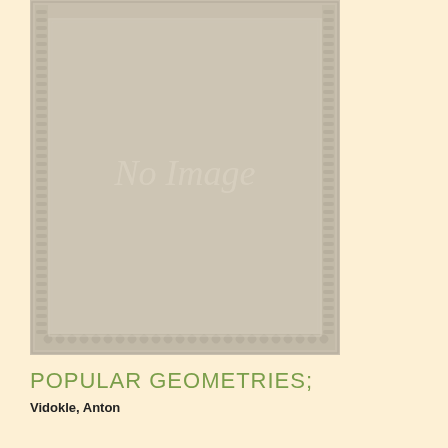[Figure (illustration): Book cover placeholder showing a tan/beige decorative bordered rectangle with ornate corner and edge patterns and italic text 'No Image' in the center]
POPULAR GEOMETRIES;
Vidokle, Anton